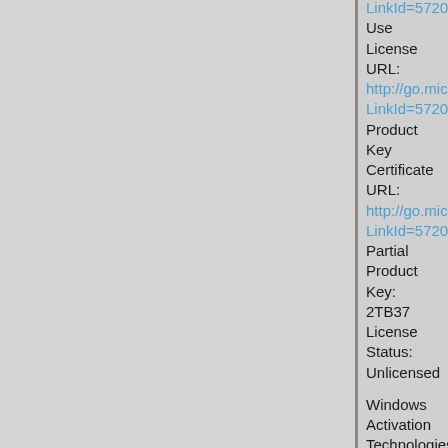LinkId=57203
Use License URL:
http://go.microsoft.com/fwlink/?LinkId=57205
Product Key Certificate URL:
http://go.microsoft.com/fwlink/?LinkId=57204
Partial Product Key: 2TB37
License Status: Unlicensed

Windows Activation Technologies-->
N/A

HWID Data-->
HWID Hash Current:
PgAAAAEABwABAAIAAQABAAAAAwABAAEAJJRgIK5mDgYEFEpRRLnKsfyQRoM4GazzUjPy9NpKPB56PaxWKoU=

OEM Activation 1.0 Data-->
N/A

OEM Activation 2.0 Data-->
BIOS valid for OA 2.0: yes, but no SLIC table
Windows marker version: N/A
OEMID and OEMTableID Consistent: N/A